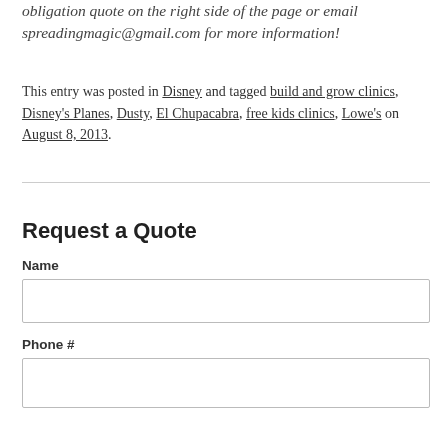obligation quote on the right side of the page or email spreadingmagic@gmail.com for more information!
This entry was posted in Disney and tagged build and grow clinics, Disney's Planes, Dusty, El Chupacabra, free kids clinics, Lowe's on August 8, 2013.
Request a Quote
Name
Phone #